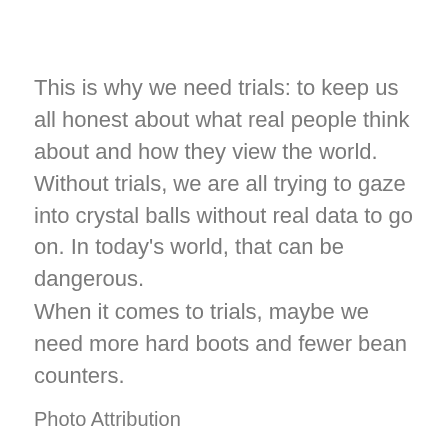This is why we need trials: to keep us all honest about what real people think about and how they view the world. Without trials, we are all trying to gaze into crystal balls without real data to go on. In today’s world, that can be dangerous.
When it comes to trials, maybe we need more hard boots and fewer bean counters.
Photo Attribution